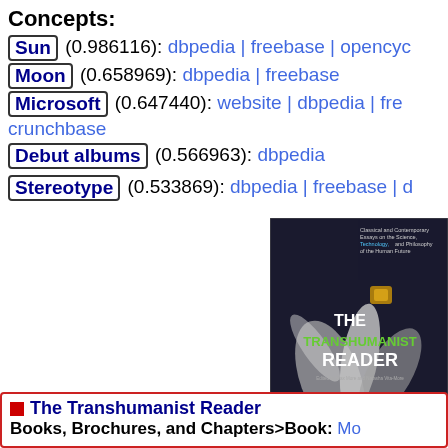Concepts:
Sun (0.986116): dbpedia | freebase | opencyc
Moon (0.658969): dbpedia | freebase
Microsoft (0.647440): website | dbpedia | freebase | crunchbase
Debut albums (0.566963): dbpedia
Stereotype (0.533869): dbpedia | freebase | ...
[Figure (photo): Book cover of 'The Transhumanist Reader' - dark background with abstract white shapes, green and white title text, published by Wiley-Blackwell]
The Transhumanist Reader
Books, Brochures, and Chapters>Book: Mo...